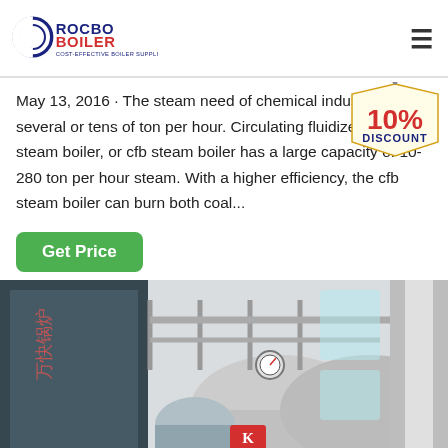[Figure (logo): Rocbo Boiler logo with tagline COST-EFFECTIVE BOILER SUPPLIER]
May 13, 2016 · The steam need of chemical industry is several or tens of ton per hour. Circulating fluidized bed steam boiler, or cfb steam boiler has a large capacity of 10-280 ton per hour steam. With a higher efficiency, the cfb steam boiler can burn both coal...
[Figure (illustration): 10% DISCOUNT badge/stamp in red text on a hanging tag shape]
[Figure (photo): Industrial boiler installation inside a factory building showing large cylindrical boiler tanks, pipes, and blue metal cabinet with Chinese text]